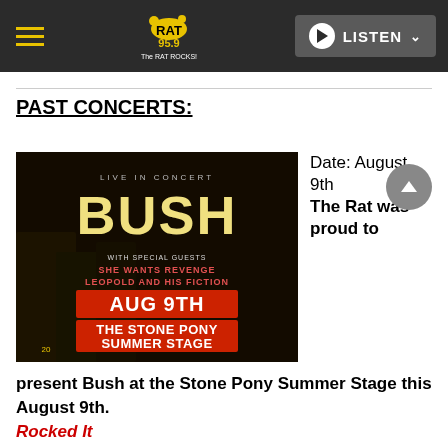WRAT 95.9 The RAT ROCKS! — LISTEN
PAST CONCERTS:
[Figure (photo): Concert promotional poster for BUSH Live in Concert, Aug 9th at The Stone Pony Summer Stage, with special guests She Wants Revenge and Leopold and His Fiction. Shows band members in a dark atmospheric image with bold text.]
Date: August 9th
The Rat was proud to present Bush at the Stone Pony Summer Stage this August 9th.
Rocked It